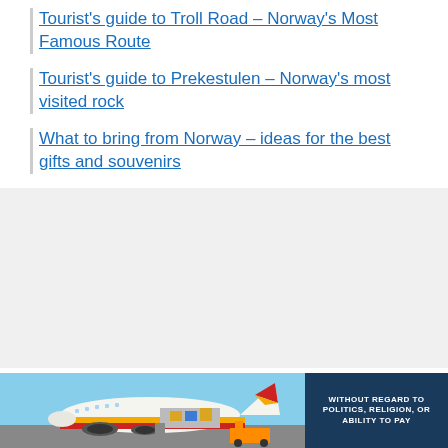Tourist's guide to Troll Road – Norway's Most Famous Route
Tourist's guide to Prekestulen – Norway's most visited rock
What to bring from Norway – ideas for the best gifts and souvenirs
[Figure (photo): Advertisement banner showing a cargo airplane being loaded on the tarmac with colorful livery, alongside a dark blue panel with text 'WITHOUT REGARD TO POLITICS, RELIGION, OR ABILITY TO PAY']